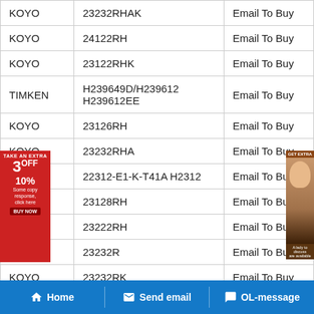| Brand | Part Number | Action |
| --- | --- | --- |
| KOYO | 23232RHAK | Email To Buy |
| KOYO | 24122RH | Email To Buy |
| KOYO | 23122RHK | Email To Buy |
| TIMKEN | H239649D/H239612 H239612EE | Email To Buy |
| KOYO | 23126RH | Email To Buy |
| KOYO | 23232RHA | Email To Buy |
| FAG | 22312-E1-K-T41A H2312 | Email To Buy |
| KOYO | 23128RH | Email To Buy |
| KOYO | 23222RH | Email To Buy |
| KOYO | 23232R | Email To Buy |
| KOYO | 23232RK | Email To Buy |
Home  Send email  OL-message